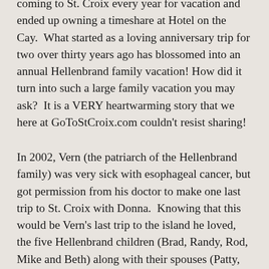coming to St. Croix every year for vacation and ended up owning a timeshare at Hotel on the Cay. What started as a loving anniversary trip for two over thirty years ago has blossomed into an annual Hellenbrand family vacation! How did it turn into such a large family vacation you may ask? It is a VERY heartwarming story that we here at GoToStCroix.com couldn't resist sharing!
In 2002, Vern (the patriarch of the Hellenbrand family) was very sick with esophageal cancer, but got permission from his doctor to make one last trip to St. Croix with Donna. Knowing that this would be Vern's last trip to the island he loved, the five Hellenbrand children (Brad, Randy, Rod, Mike and Beth) along with their spouses (Patty, Cary, Karla, Janeen and Tim) decided they would ALL go to St. Croix along